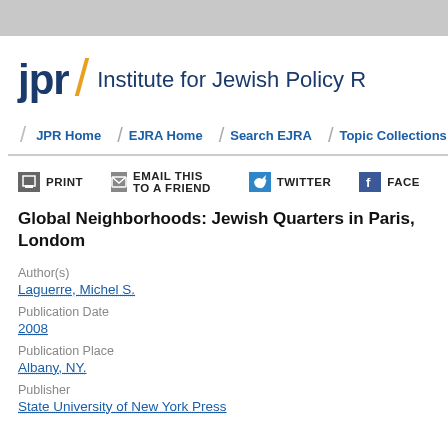[Figure (logo): JPR / Institute for Jewish Policy Research logo with navigation bar showing JPR Home, EJRA Home, Search EJRA, Topic Collections]
JPR Home / EJRA Home / Search EJRA / Topic Collections
PRINT  EMAIL THIS TO A FRIEND  TWITTER  FACE
Global Neighborhoods: Jewish Quarters in Paris, London...
Author(s)
Laguerre, Michel S.
Publication Date
2008
Publication Place
Albany, NY.
Publisher
State University of New York Press